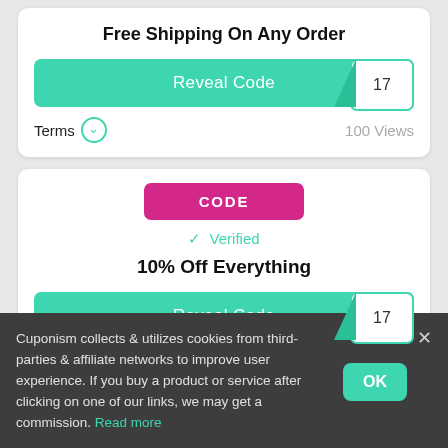Free Shipping On Any Order
Reveal Code
Terms  100 Views
CODE
✓ Verified
10% Off Everything
Reveal Code
Cuponism collects & utilizes cookies from third-parties & affiliate networks to improve user experience. If you buy a product or service after clicking on one of our links, we may get a commission. Read more